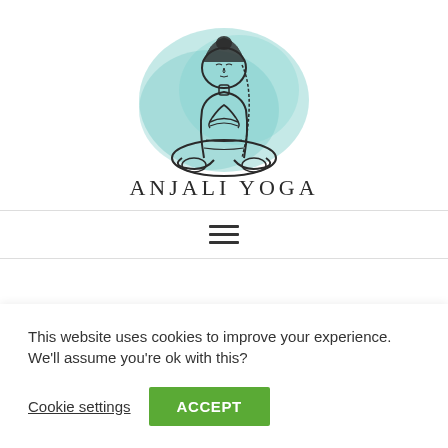[Figure (logo): Anjali Yoga logo: illustration of a person meditating in lotus pose with hands in prayer position, with teal/turquoise watercolor splash background, and the text 'ANJALI YOGA' beneath in decorative lettering]
[Figure (other): Hamburger menu icon consisting of three horizontal lines]
This website uses cookies to improve your experience. We'll assume you're ok with this?
Cookie settings
ACCEPT